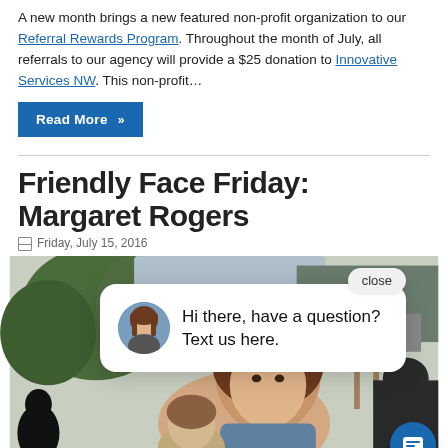A new month brings a new featured non-profit organization to our Referral Rewards Program. Throughout the month of July, all referrals to our agency will provide a $25 donation to Innovative Services NW. This non-profit...
Read More »
Friendly Face Friday: Margaret Rogers
Friday, July 15, 2016
[Figure (photo): Outdoor photo showing people including a woman with brown hair, trees in background, with a chat popup overlay saying 'Hi there, have a question? Text us here.' with a woman avatar, close button, blue chat button, and scroll-to-top button.]